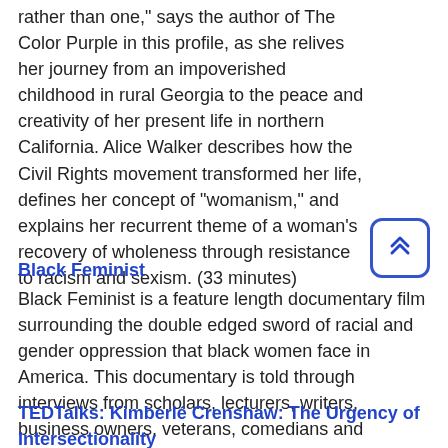rather than one," says the author of The Color Purple in this profile, as she relives her journey from an impoverished childhood in rural Georgia to the peace and creativity of her present life in northern California. Alice Walker describes how the Civil Rights movement transformed her life, defines her concept of "womanism," and explains her recurrent theme of a woman's recovery of wholeness through resistance to racism and sexism. (33 minutes)
Black Feminist
Black Feminist is a feature length documentary film surrounding the double edged sword of racial and gender oppression that black women face in America. This documentary is told through interviews from scholars, lecturers, writers, business owners, veterans, comedians and authors. In addition to information interviews, this documentary is narrated by our storybook character LaToya Johnson, played by Nadirah Lugg.
TEDTalks: Kimberlé Crenshaw: The Urgency of Intersectionality